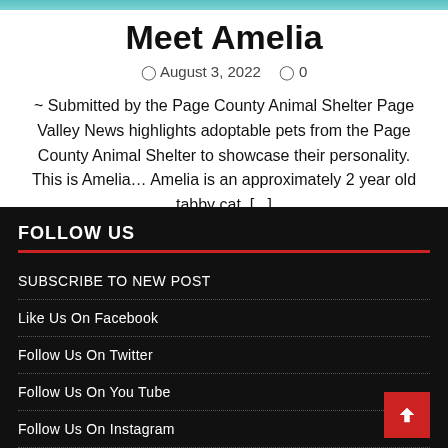[Figure (photo): Partial image of a tabby cat at the top of the page]
Meet Amelia
August 3, 2022   0
~ Submitted by the Page County Animal Shelter Page Valley News highlights adoptable pets from the Page County Animal Shelter to showcase their personality. This is Amelia… Amelia is an approximately 2 year old tabby cat. [...]
FOLLOW US
SUBSCRIBE TO NEW POST
Like Us On Facebook
Follow Us On Twitter
Follow Us On You Tube
Follow Us On Instagram